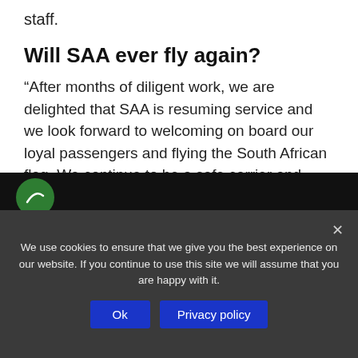staff.
Will SAA ever fly again?
“After months of diligent work, we are delighted that SAA is resuming service and we look forward to welcoming on board our loyal passengers and flying the South African flag. We continue to be a safe carrier and adhering to COVID-19 protocols,” said interim chief executive Thomas Kgokolo.
[Figure (screenshot): Dark background screenshot bar with a circular green logo icon on the left.]
We use cookies to ensure that we give you the best experience on our website. If you continue to use this site we will assume that you are happy with it.